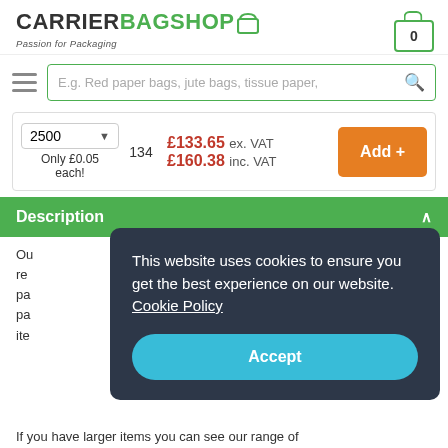[Figure (logo): CarrierBagShop logo with green bag icon and tagline 'Passion for Packaging']
[Figure (other): Shopping cart icon with number 0]
E.g. Red paper bags, jute bags, tissue paper,
2500 | Only £0.05 each!
134
£133.65 ex. VAT £160.38 inc. VAT
Add +
Description
This website uses cookies to ensure you get the best experience on our website. Cookie Policy
Accept
Ou re pa pa ite
If you have larger items you can see our range of